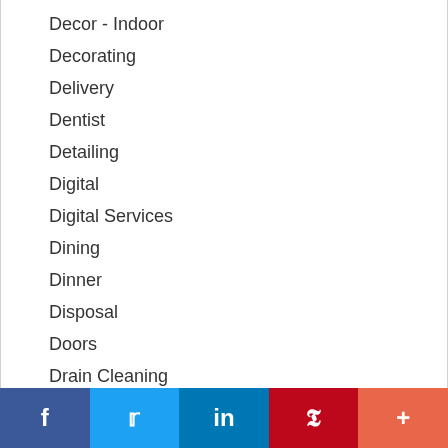Decor - Indoor
Decorating
Delivery
Dentist
Detailing
Digital
Digital Services
Dining
Dinner
Disposal
Doors
Drain Cleaning
Driveway Sealing
f  Twitter  in  P  +